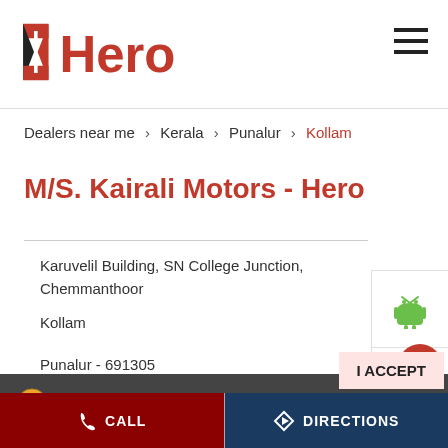Hero MotoCorp – M/S. Kairali Motors dealer page
Dealers near me > Kerala > Punalur > Kollam
M/S. Kairali Motors - Hero Motocorp
Karuvelil Building, SN College Junction, Chemmanthoor
Kollam
Punalur - 691305
Open until 06:00 PM | OPEN NOW
Cookie Information
We use cookies (including third party cookies) in order to improve your experience and our service. Click "I Accept" to accept the cookie usage. You can refer to our Cookie Policy for cookie settings. Please refer to our Privacy Policy, Terms of Use, Disclaimer, Rules & Regulations and Data Collection Contract or more information on personal data usage.
CALL | DIRECTIONS
E-Shop